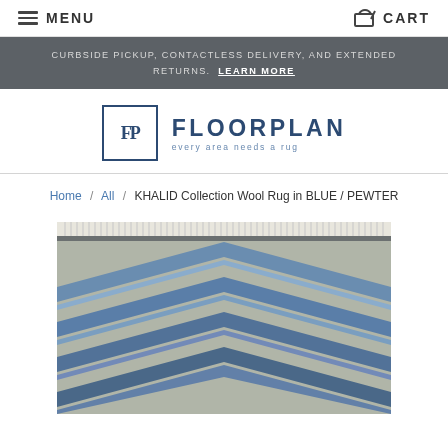MENU | CART
CURBSIDE PICKUP, CONTACTLESS DELIVERY, AND EXTENDED RETURNS. LEARN MORE
[Figure (logo): Floorplan logo: FP monogram in a square box, with FLOORPLAN text and tagline 'every area needs a rug']
Home / All / KHALID Collection Wool Rug in BLUE / PEWTER
[Figure (photo): Close-up photograph of a wool area rug with a chevron/zigzag pattern in blue and pewter/grey tones, with fringe at the top edge.]